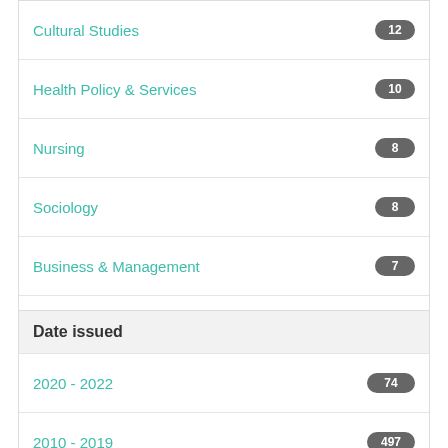Cultural Studies  12
Health Policy & Services  10
Nursing  8
Sociology  8
Business & Management  7
next >
Date issued
2020 - 2022  74
2010 - 2019  497
2000 - 2009  402
1990 - 1999  3